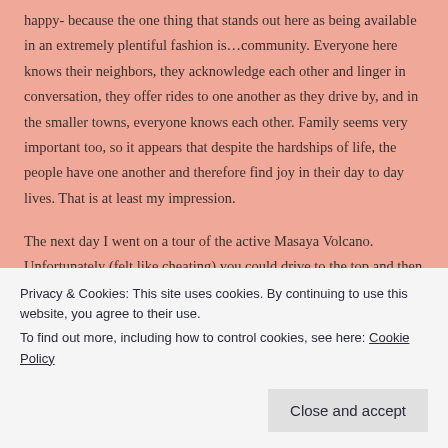happy- because the one thing that stands out here as being available in an extremely plentiful fashion is…community. Everyone here knows their neighbors, they acknowledge each other and linger in conversation, they offer rides to one another as they drive by, and in the smaller towns, everyone knows each other. Family seems very important too, so it appears that despite the hardships of life, the people have one another and therefore find joy in their day to day lives. That is at least my impression.

The next day I went on a tour of the active Masaya Volcano. Unfortunately (felt like cheating) you could drive to the top and then peer over the edge into the
Privacy & Cookies: This site uses cookies. By continuing to use this website, you agree to their use.
To find out more, including how to control cookies, see here: Cookie Policy
Close and accept